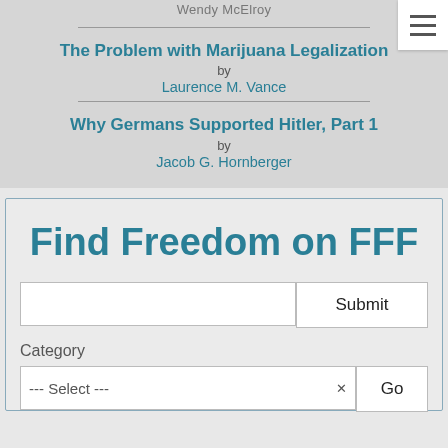Wendy McElroy
The Problem with Marijuana Legalization
by
Laurence M. Vance
Why Germans Supported Hitler, Part 1
by
Jacob G. Hornberger
Find Freedom on FFF
Submit
Category
--- Select ---